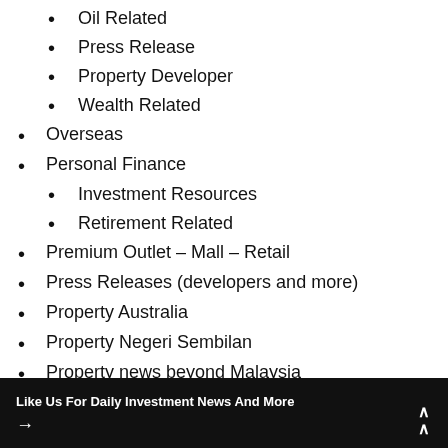Oil Related
Press Release
Property Developer
Wealth Related
Overseas
Personal Finance
Investment Resources
Retirement Related
Premium Outlet – Mall – Retail
Press Releases (developers and more)
Property Australia
Property Negeri Sembilan
Property news beyond Malaysia
Property Penang
Property Perak
Property Sabah
Property Seremban
Like Us For Daily Investment News And More